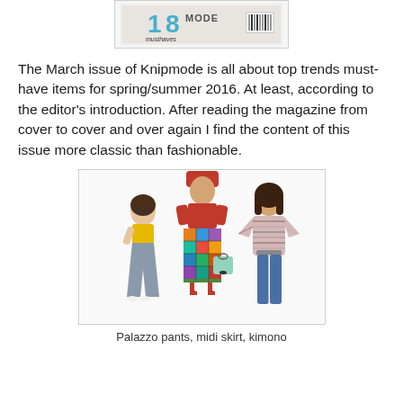[Figure (photo): Partial magazine cover of Knipmode showing '18 musthaves MODE' text]
The March issue of Knipmode is all about top trends must-have items for spring/summer 2016. At least, according to the editor's introduction. After reading the magazine from cover to cover and over again I find the content of this issue more classic than fashionable.
[Figure (photo): Three fashion models showing palazzo pants, midi skirt, and kimono clothing items]
Palazzo pants, midi skirt, kimono